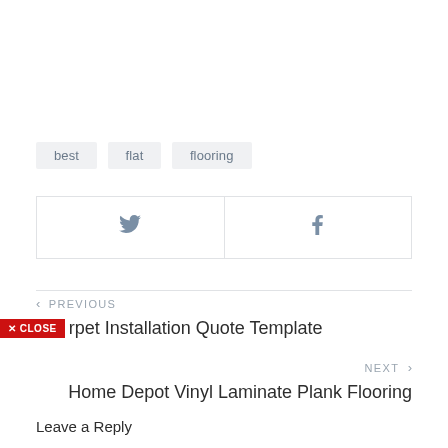best   flat   flooring
[Figure (other): Share buttons row: Twitter bird icon on left half, Facebook f icon on right half, separated by a vertical line, all within a bordered rectangle]
< PREVIOUS
Carpet Installation Quote Template
NEXT >
Home Depot Vinyl Laminate Plank Flooring
Leave a Reply